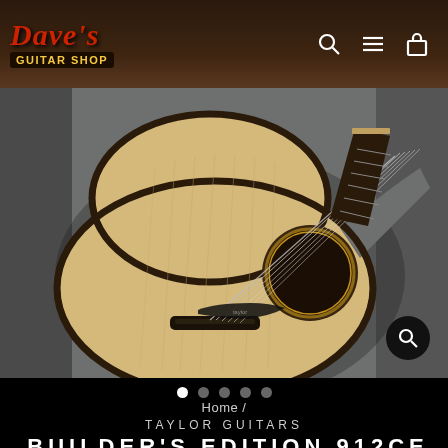[Figure (logo): Dave's Guitar Shop logo with red italic text and yellow 'GUITAR SHOP' banner on dark brown background, with search, hamburger menu, and shopping bag icons on the right]
[Figure (photo): Acoustic guitar (Taylor Builder's Edition 912ce) with natural spruce top, cutaway body, dark binding, rosette soundhole, and ebony fretboard, photographed on grey background]
● ○ ○ ○ ○
Home /
TAYLOR GUITARS
BUILDER'S EDITION 912CE